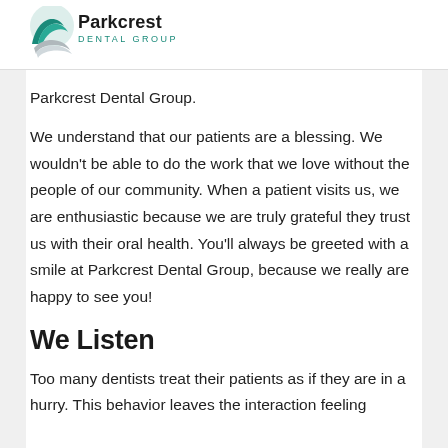[Figure (logo): Parkcrest Dental Group logo with teal swoosh/wave graphic and text 'Parkcrest DENTAL GROUP']
Parkcrest Dental Group.
We understand that our patients are a blessing. We wouldn't be able to do the work that we love without the people of our community. When a patient visits us, we are enthusiastic because we are truly grateful they trust us with their oral health. You'll always be greeted with a smile at Parkcrest Dental Group, because we really are happy to see you!
We Listen
Too many dentists treat their patients as if they are in a hurry. This behavior leaves the interaction feeling